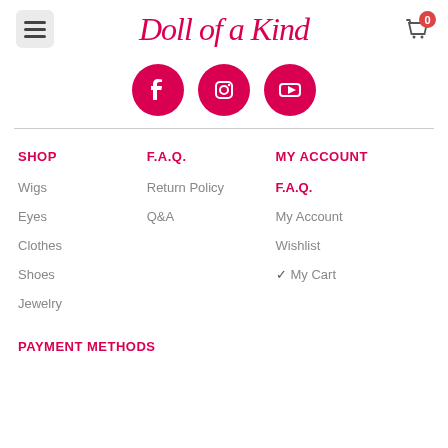[Figure (logo): Doll of a Kind script logo in pink/crimson with hamburger menu and cart icon with badge showing 0]
[Figure (infographic): Three social media icons (Facebook, Instagram, YouTube) in pink circles]
SHOP
Wigs
Eyes
Clothes
Shoes
Jewelry
F.A.Q.
Return Policy
Q&A
MY ACCOUNT
F.A.Q.
My Account
Wishlist
✓ My Cart
PAYMENT METHODS